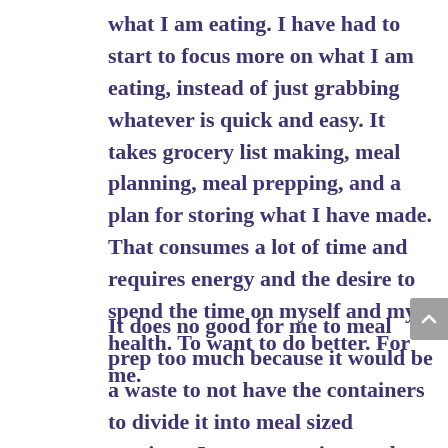what I am eating.  I have had to start to focus more on what I am eating, instead of just grabbing whatever is quick and easy.  It takes grocery list making, meal planning, meal prepping, and a plan for storing what I have made.  That consumes a lot of time and requires energy and the desire to spend the time on myself and my health.  To want to do better.  For me.
It does no good for me to meal prep too much because it would be a waste to not have the containers to divide it into meal sized portions.  I am now trying to plan different meals at times.  That is more work.  But my husband